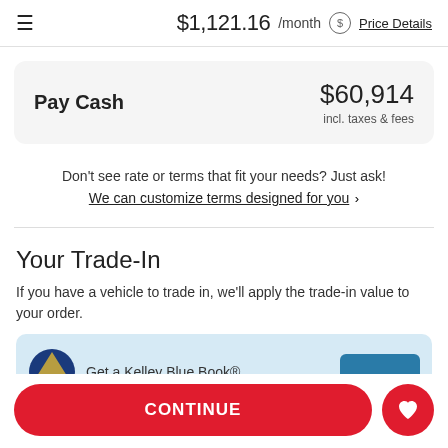$1,121.16 /month  Price Details
| Pay Cash | Amount |
| --- | --- |
| Pay Cash | $60,914
incl. taxes & fees |
Don't see rate or terms that fit your needs? Just ask!
We can customize terms designed for you ›
Your Trade-In
If you have a vehicle to trade in, we'll apply the trade-in value to your order.
[Figure (logo): Kelley Blue Book logo and 'Get a Kelley Blue Book®' banner with blue button]
CONTINUE